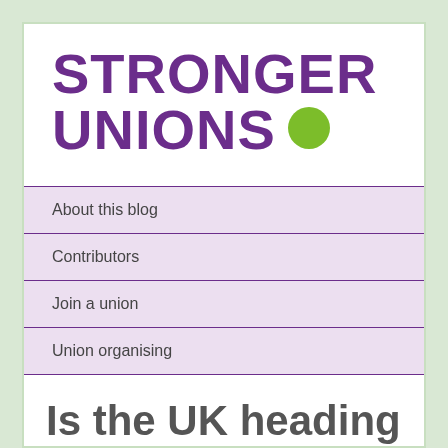[Figure (logo): Stronger Unions logo with large bold purple text and a green circle dot]
About this blog
Contributors
Join a union
Union organising
Is the UK heading for a summer of